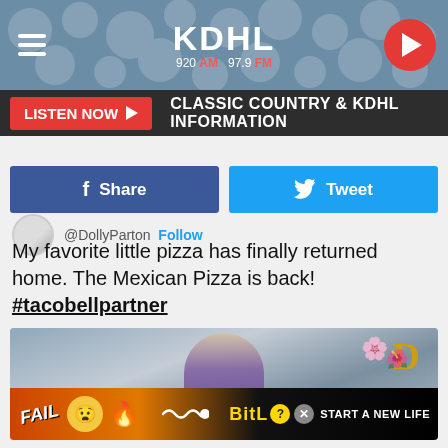KDHL 920 AM 97.9 FM
LISTEN NOW ▶  CLASSIC COUNTRY & KDHL INFORMATION
[Figure (screenshot): Facebook Share and Tweet social sharing buttons]
@DollyParton  Follow
My favorite little pizza has finally returned home. The Mexican Pizza is back! #tacobellpartner
[Figure (photo): Photo of Dolly Parton in a kitchen setting holding a Taco Bell item, with flowers and a gold D decoration in the background. An advertisement overlay for BitLife app appears at the bottom with 'FAIL' text and 'START A NEW LIFE' tagline.]